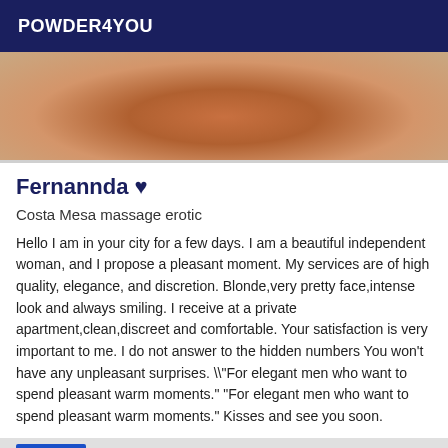POWDER4YOU
[Figure (photo): Partial photo of a person in a terracotta/salmon colored top against a light background, cropped to show torso and hands]
Fernannda ♥
Costa Mesa massage erotic
Hello I am in your city for a few days. I am a beautiful independent woman, and I propose a pleasant moment. My services are of high quality, elegance, and discretion. Blonde,very pretty face,intense look and always smiling. I receive at a private apartment,clean,discreet and comfortable. Your satisfaction is very important to me. I do not answer to the hidden numbers You won't have any unpleasant surprises. \"For elegant men who want to spend pleasant warm moments." "For elegant men who want to spend pleasant warm moments." Kisses and see you soon.